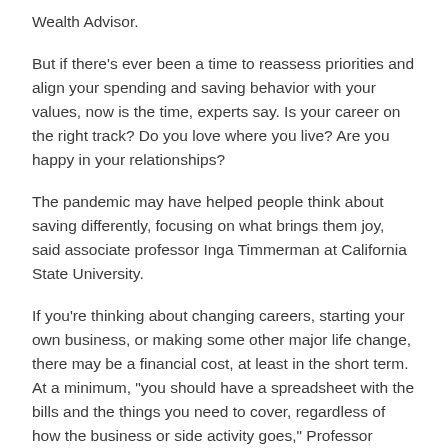Wealth Advisor.
But if there’s ever been a time to reassess priorities and align your spending and saving behavior with your values, now is the time, experts say. Is your career on the right track? Do you love where you live? Are you happy in your relationships?
The pandemic may have helped people think about saving differently, focusing on what brings them joy, said associate professor Inga Timmerman at California State University.
If you’re thinking about changing careers, starting your own business, or making some other major life change, there may be a financial cost, at least in the short term. At a minimum, “you should have a spreadsheet with the bills and the things you need to cover, regardless of how the business or side activity goes,” Professor Timmerman said.
Try to get a good idea of how many months you can cover those bills with your savings, she said, or what you’ll do to pay them instead. It could mean selling a car or moving into cheaper accommodation